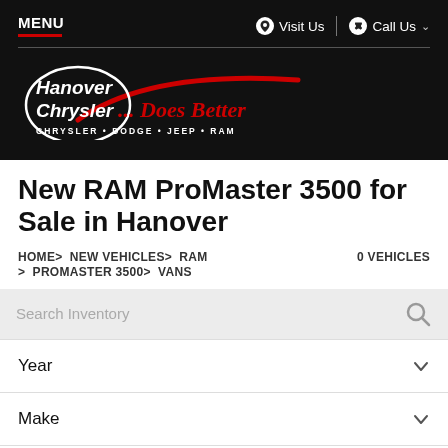MENU | Visit Us | Call Us
[Figure (logo): Hanover Chrysler ...Does Better logo with tagline CHRYSLER • DODGE • JEEP • RAM on black background]
New RAM ProMaster 3500 for Sale in Hanover
HOME> NEW VEHICLES> RAM > PROMASTER 3500> VANS   0 VEHICLES
Search Inventory
Year
Make
Model
Trim